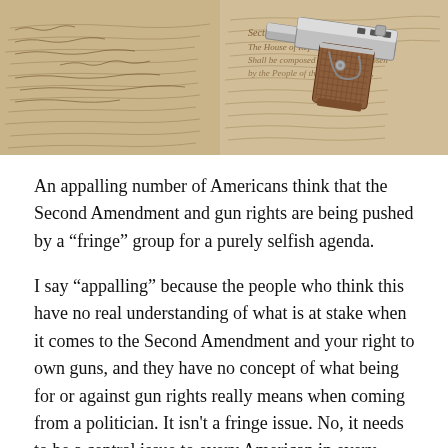[Figure (photo): A semi-automatic pistol (1911-style) resting on top of aged parchment documents with cursive handwriting, resembling the US Constitution or similar historical documents.]
An appalling number of Americans think that the Second Amendment and gun rights are being pushed by a “fringe” group for a purely selfish agenda.
I say “appalling” because the people who think this have no real understanding of what is at stake when it comes to the Second Amendment and your right to own guns, and they have no concept of what being for or against gun rights really means when coming from a politician. It isn't a fringe issue. No, it needs to be a central issue to every American in every election (hat tip to here for the lead). L. Neil Smith explains